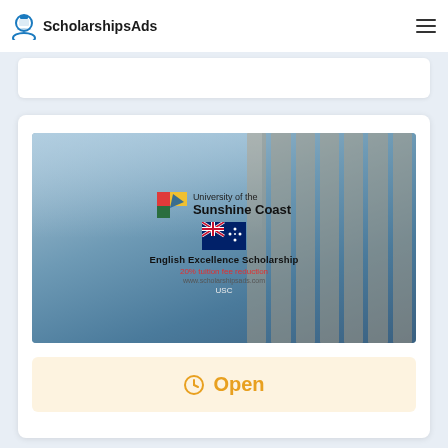ScholarshipsAds
[Figure (photo): University of the Sunshine Coast - English Excellence Scholarship promotional image showing the USC building with logo, Australian flag, scholarship name '20% tuition fee reduction' and website www.scholarshipsads.com]
Open